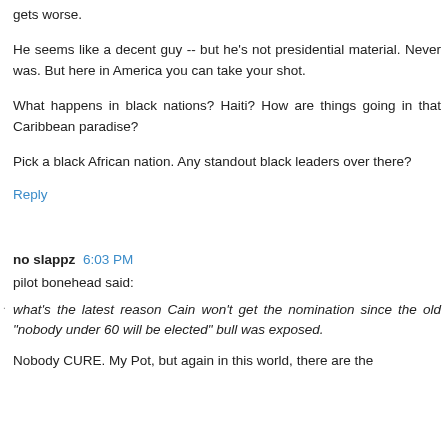gets worse.
He seems like a decent guy -- but he's not presidential material. Never was. But here in America you can take your shot.
What happens in black nations? Haiti? How are things going in that Caribbean paradise?
Pick a black African nation. Any standout black leaders over there?
Reply
no slappz  6:03 PM
pilot bonehead said:
what's the latest reason Cain won't get the nomination since the old "nobody under 60 will be elected" bull was exposed.
Nobody CURE. My Pot, but again in this world, there are the